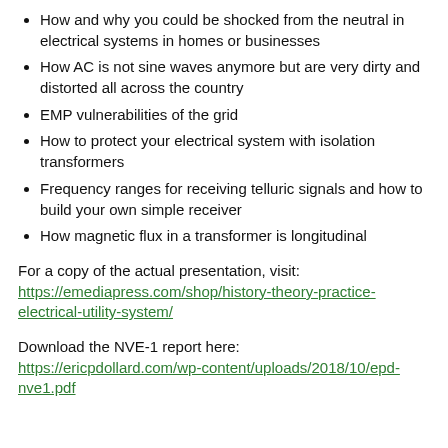How and why you could be shocked from the neutral in electrical systems in homes or businesses
How AC is not sine waves anymore but are very dirty and distorted all across the country
EMP vulnerabilities of the grid
How to protect your electrical system with isolation transformers
Frequency ranges for receiving telluric signals and how to build your own simple receiver
How magnetic flux in a transformer is longitudinal
For a copy of the actual presentation, visit:
https://emediapress.com/shop/history-theory-practice-electrical-utility-system/
Download the NVE-1 report here:
https://ericpdollard.com/wp-content/uploads/2018/10/epd-nve1.pdf